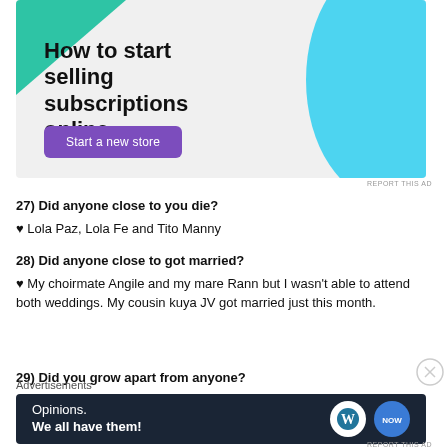[Figure (illustration): Advertisement banner with green triangle top-left, light blue arc top-right, bold text 'How to start selling subscriptions online', and a purple 'Start a new store' button on light gray background]
REPORT THIS AD
27) Did anyone close to you die?
♥ Lola Paz, Lola Fe and Tito Manny
28) Did anyone close to got married?
♥ My choirmate Angile and my mare Rann but I wasn't able to attend both weddings. My cousin kuya JV got married just this month.
29) Did you grow apart from anyone?
Advertisements
[Figure (illustration): Dark navy advertisement banner with text 'Opinions. We all have them!' and WordPress and another circular logo on the right]